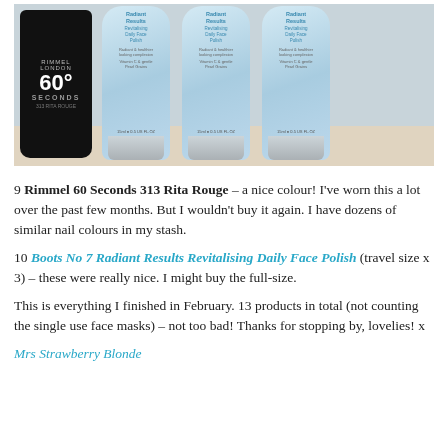[Figure (photo): Photo showing a Rimmel London 60 Seconds nail polish bottle (313 Rita Rouge, dark/black bottle) alongside three light blue Boots No 7 Radiant Results Revitalising Daily Face Polish travel-size tubes on a patterned surface.]
9 Rimmel 60 Seconds 313 Rita Rouge – a nice colour! I've worn this a lot over the past few months. But I wouldn't buy it again. I have dozens of similar nail colours in my stash.
10 Boots No 7 Radiant Results Revitalising Daily Face Polish (travel size x 3) – these were really nice. I might buy the full-size.
This is everything I finished in February. 13 products in total (not counting the single use face masks) – not too bad! Thanks for stopping by, lovelies! x
Mrs Strawberry Blonde